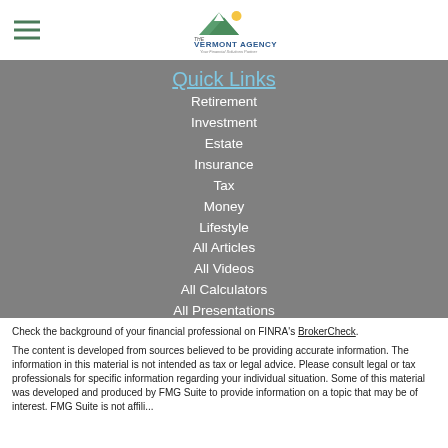The Vermont Agency — Your Financial Solutions Partner
Quick Links
Retirement
Investment
Estate
Insurance
Tax
Money
Lifestyle
All Articles
All Videos
All Calculators
All Presentations
Check the background of your financial professional on FINRA's BrokerCheck.
The content is developed from sources believed to be providing accurate information. The information in this material is not intended as tax or legal advice. Please consult legal or tax professionals for specific information regarding your individual situation. Some of this material was developed and produced by FMG Suite to provide information on a topic that may be of interest. FMG Suite is not affiliated with the named representative, broker - dealer, state - or SEC -